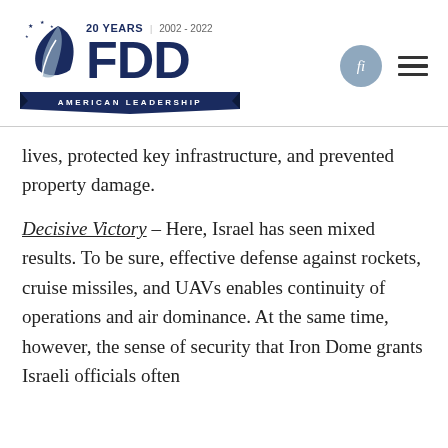[Figure (logo): FDD (Foundation for Defense of Democracies) logo with '20 YEARS | 2002 - 2022' text, large FDD letters in dark blue, a leaf/feather icon, and 'AMERICAN LEADERSHIP' banner ribbon]
lives, protected key infrastructure, and prevented property damage.
Decisive Victory – Here, Israel has seen mixed results. To be sure, effective defense against rockets, cruise missiles, and UAVs enables continuity of operations and air dominance. At the same time, however, the sense of security that Iron Dome grants Israeli officials often